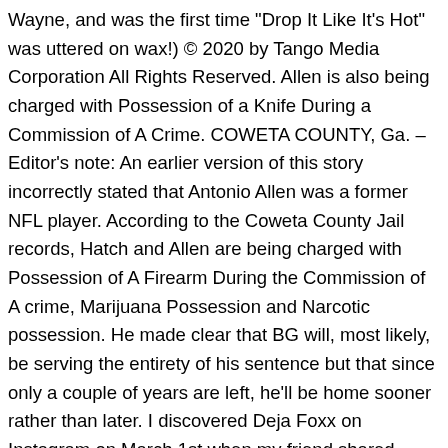Wayne, and was the first time "Drop It Like It's Hot" was uttered on wax!) © 2020 by Tango Media Corporation All Rights Reserved. Allen is also being charged with Possession of a Knife During a Commission of A Crime. COWETA COUNTY, Ga. – Editor's note: An earlier version of this story incorrectly stated that Antonio Allen was a former NFL player. According to the Coweta County Jail records, Hatch and Allen are being charged with Possession of A Firearm During the Commission of A crime, Marijuana Possession and Narcotic possession. He made clear that BG will, most likely, be serving the entirety of his sentence but that since only a couple of years are left, he'll be home sooner rather than later. I discovered Deja Foxx on Instagram on March 1st when my friend shared Deja's Women's History Month post on her Instagram story. Born Christopher Noel Dorsey in 1980 in Louisiana, BG (short for "Baby Gangsta") joined the Hot Boys after he met up with Bryan Williams (known as "Birdman") in a barbershop. I didn't know any better. And